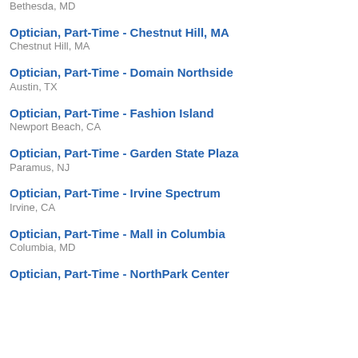Bethesda, MD
Optician, Part-Time - Chestnut Hill, MA
Chestnut Hill, MA
Optician, Part-Time - Domain Northside
Austin, TX
Optician, Part-Time - Fashion Island
Newport Beach, CA
Optician, Part-Time - Garden State Plaza
Paramus, NJ
Optician, Part-Time - Irvine Spectrum
Irvine, CA
Optician, Part-Time - Mall in Columbia
Columbia, MD
Optician, Part-Time - NorthPark Center